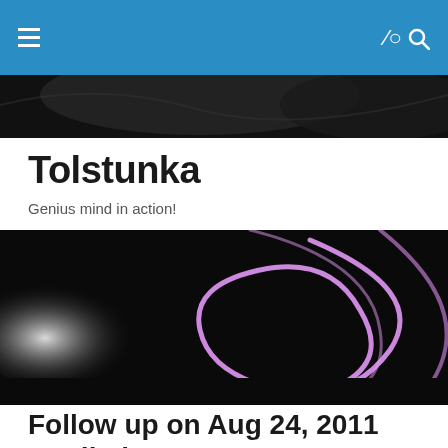Tolstunka — navigation bar with hamburger menu and search icon
[Figure (photo): Dark abstract background image strip at top]
Tolstunka
Genius mind in action!
[Figure (photo): Abstract dark image with pink/violet swirling lines on black background with gradient]
Follow up on Aug 24, 2011 predictions
Wanted to post this comment as a separate post, so as to not make the comment list to previous 2 related posts